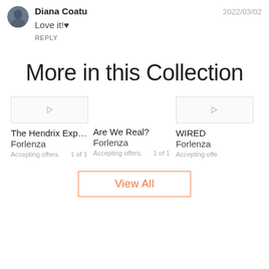Diana Coatu   2022/03/02
Love it!♥
REPLY
More in this Collection
The Hendrix Experience
Forlenza
Accepting offers.   1 of 1
Are We Real?
Forlenza
Accepting offers.   1 of 1
WIRED
Forlenza
Accepting offe...
View All